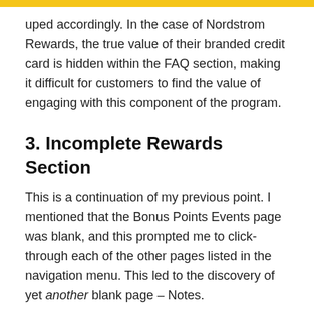uped accordingly.  In the case of Nordstrom Rewards, the true value of their branded credit card is hidden within the FAQ section, making it difficult for customers to find the value of engaging with this component of the program.
3. Incomplete Rewards Section
This is a continuation of my previous point.  I mentioned that the Bonus Points Events page was blank, and this prompted me to click-through each of the other pages listed in the navigation menu.  This led to the discovery of yet another blank page – Notes.
[Figure (screenshot): Screenshot of a Nordstrom Rewards Notes page showing navigation menu on left with items: Nordstrom Rewards, Benefits, Notes, Bonus Points Events, FAQs, and a heading 'Nordstrom Notes' on the right side. Breadcrumb shows Home / Nordstrom Rewards / Notes.]